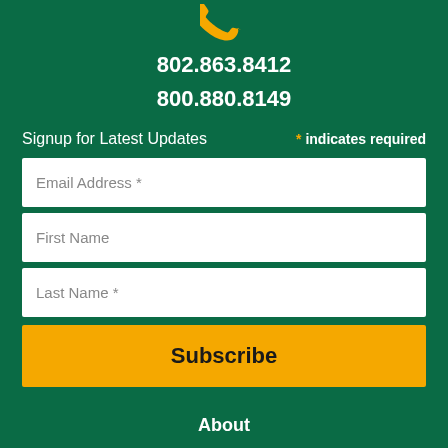[Figure (illustration): Yellow phone/telephone icon at the top center]
802.863.8412
800.880.8149
Signup for Latest Updates
* indicates required
Email Address *
First Name
Last Name *
Subscribe
About
Our History
Staff & Board